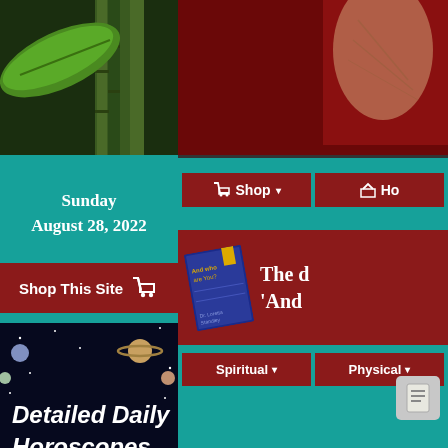[Figure (screenshot): Website screenshot showing bamboo/leaf background image in top-left area]
[Figure (screenshot): Dark red/maroon background with partial hand image in top-right area]
Sunday
August 28, 2022
Shop This Site 🛒
[Figure (illustration): Detailed Daily Horoscopes banner with planets and space background by Dr. Loretta Standley]
Detailed Daily
Horoscopes
by Dr. Loretta Standley
ASTRO
Shop
Ho
[Figure (illustration): Book cover - And who are You? displayed at an angle on dark red background]
The d
'And
Spiritual
Physical